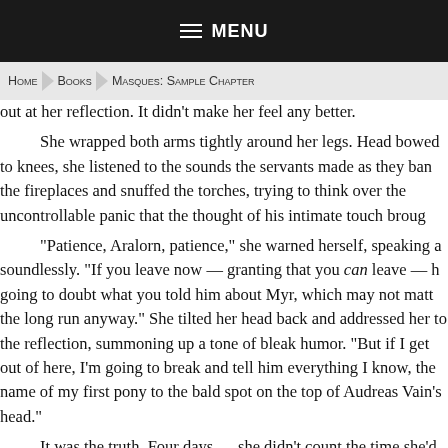MENU
Home > Books > Masques: Sample Chapter
out at her reflection. It didn't make her feel any better.

She wrapped both arms tightly around her legs. Head bowed to knees, she listened to the sounds the servants made as they banked the fireplaces and snuffed the torches, trying to think over the uncontrollable panic that the thought of his intimate touch brough.

"Patience, Aralorn, patience," she warned herself, speaking almost soundlessly. "If you leave now — granting that you can leave — he's going to doubt what you told him about Myr, which may not matter in the long run anyway." She tilted her head back and addressed herself to the reflection, summoning up a tone of bleak humor. "But if I can get out of here, I'm going to break and tell him everything I know, from the name of my first pony to the bald spot on the top of Andreas Vain's head."

It was the truth. Four days — she didn't count the time she'd been locked up alone. A fifth day here would break her. And someone needed to let the Spymaster know what dwelled in the ae'Magi's castle.

Decision made, she waited while the sounds of the castle